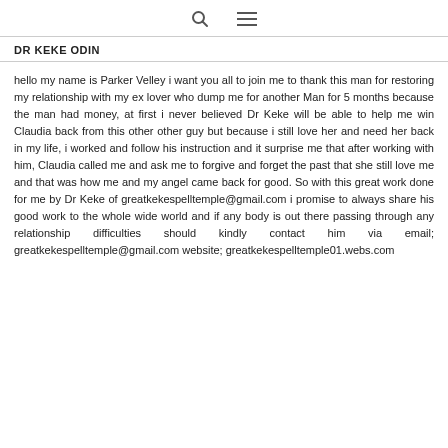DR KEKE ODIN
hello my name is Parker Velley i want you all to join me to thank this man for restoring my relationship with my ex lover who dump me for another Man for 5 months because the man had money, at first i never believed Dr Keke will be able to help me win Claudia back from this other other guy but because i still love her and need her back in my life, i worked and follow his instruction and it surprise me that after working with him, Claudia called me and ask me to forgive and forget the past that she still love me and that was how me and my angel came back for good. So with this great work done for me by Dr Keke of greatkekespelltemple@gmail.com i promise to always share his good work to the whole wide world and if any body is out there passing through any relationship difficulties should kindly contact him via email; greatkekespelltemple@gmail.com website; greatkekespelltemple01.webs.com